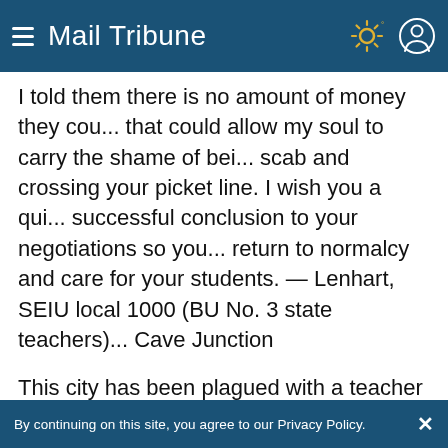Mail Tribune
I told them there is no amount of money they could give that could allow my soul to carry the shame of being a scab and crossing your picket line. I wish you a quick and successful conclusion to your negotiations so you can return to normalcy and care for your students. — Lenhart, SEIU local 1000 (BU No. 3 state teachers), Cave Junction
This city has been plagued with a teacher strike resulting in horrible classroom conditions for students.
By continuing on this site, you agree to our Privacy Policy.